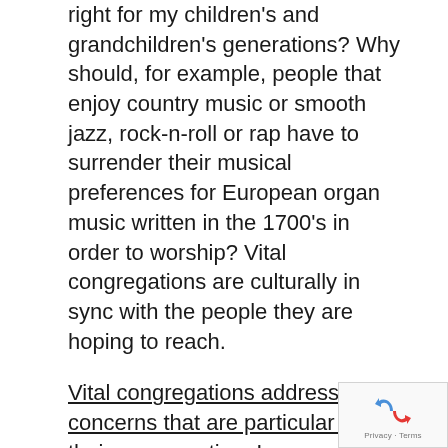right for my children's and grandchildren's generations? Why should, for example, people that enjoy country music or smooth jazz, rock-n-roll or rap have to surrender their musical preferences for European organ music written in the 1700's in order to worship? Vital congregations are culturally in sync with the people they are hoping to reach.
Vital congregations address the concerns that are particular to their congregation. I remember meeting with the leaders of a congregation several years ago. In preparation I printed off the Mission Insight executive demographic summary and discovered that there was a very high percentage (over 70%) of families in their area that were single parent families. When I ask the leaders